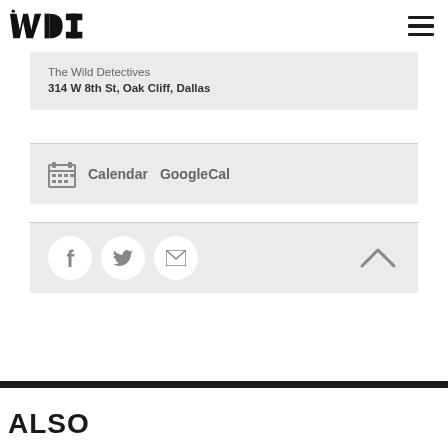WD logo and hamburger menu
Location
The Wild Detectives
314 W 8th St, Oak Cliff, Dallas
Calendar  GoogleCal
[Figure (infographic): Social share icons: Facebook, Twitter, Email circles, and an up-arrow caret]
ALSO